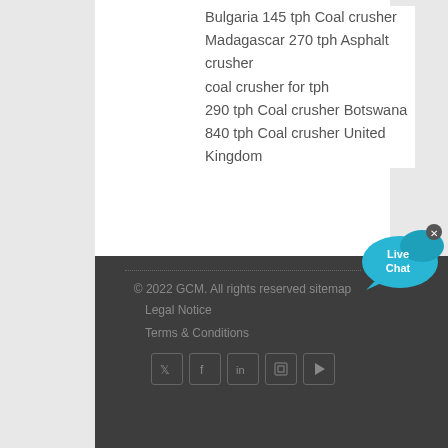Bulgaria 145 tph Coal crusher
Madagascar 270 tph Asphalt crusher
coal crusher for tph
290 tph Coal crusher Botswana
840 tph Coal crusher United Kingdom
[Figure (illustration): Live Chat button bubble in blue/teal color with 'Live Chat' text and a close X button]
© 2022 GCM. All rights reserved sitemap
Legal Notice
Terms & Conditions